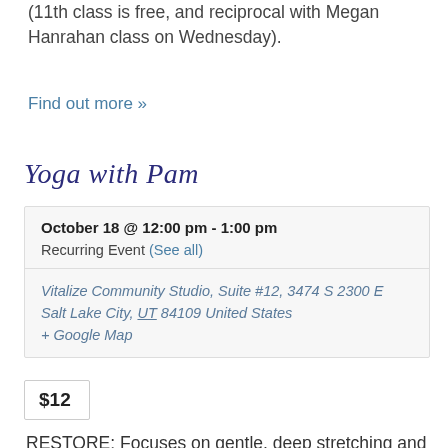(11th class is free, and reciprocal with Megan Hanrahan class on Wednesday).
Find out more »
Yoga with Pam
| October 18 @ 12:00 pm - 1:00 pm |
| Recurring Event (See all) |
| Vitalize Community Studio, Suite #12, 3474 S 2300 E Salt Lake City, UT 84109 United States + Google Map |
$12
RESTORE: Focuses on gentle, deep stretching and holding of healing yoga poses (with optional props to deepen the postures). Enjoy a slow, relaxing flow of movement and breath